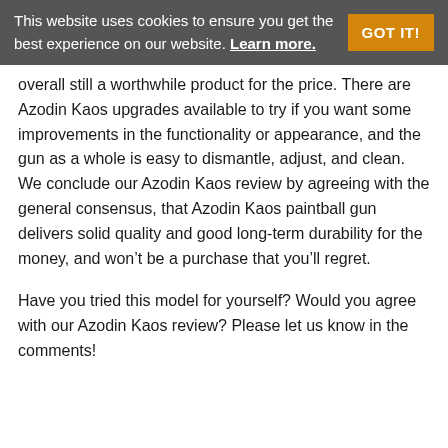This website uses cookies to ensure you get the best experience on our website. Learn more. GOT IT!
overall still a worthwhile product for the price. There are Azodin Kaos upgrades available to try if you want some improvements in the functionality or appearance, and the gun as a whole is easy to dismantle, adjust, and clean. We conclude our Azodin Kaos review by agreeing with the general consensus, that Azodin Kaos paintball gun delivers solid quality and good long-term durability for the money, and won’t be a purchase that you’ll regret.
Have you tried this model for yourself? Would you agree with our Azodin Kaos review? Please let us know in the comments!